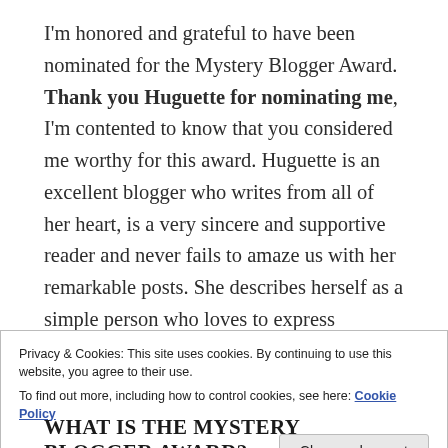I'm honored and grateful to have been nominated for the Mystery Blogger Award. Thank you Huguette for nominating me, I'm contented to know that you considered me worthy for this award. Huguette is an excellent blogger who writes from all of her heart, is a very sincere and supportive reader and never fails to amaze us with her remarkable posts. She describes herself as a simple person who loves to express different feelings and thoughts in writing and believes in mutual respect and reciprocity in all kind of relationships in life. She is a founder member of Amnesty International groups in
Privacy & Cookies: This site uses cookies. By continuing to use this website, you agree to their use.
To find out more, including how to control cookies, see here: Cookie Policy
WHAT IS THE MYSTERY BLOGGER AWARD?